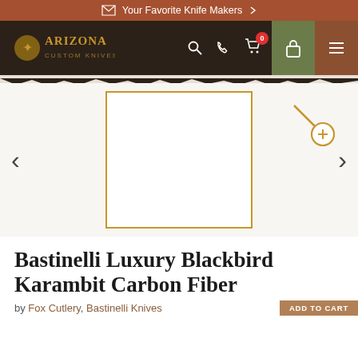Your Favorite Knife Makers
[Figure (logo): Arizona Custom Knives logo with navigation icons including search, phone, cart (0), lock, and menu]
[Figure (photo): Product image placeholder with golden border for Bastinelli Luxury Blackbird Karambit Carbon Fiber knife, with zoom icon, left and right navigation arrows]
Bastinelli Luxury Blackbird Karambit Carbon Fiber
by Fox Cutlery, Bastinelli Knives